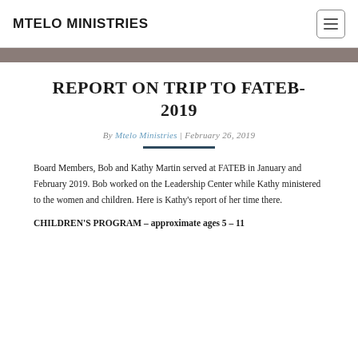MTELO MINISTRIES
REPORT ON TRIP TO FATEB-2019
By Mtelo Ministries | February 26, 2019
Board Members, Bob and Kathy Martin served at FATEB in January and February 2019. Bob worked on the Leadership Center while Kathy ministered to the women and children. Here is Kathy's report of her time there.
CHILDREN'S PROGRAM – approximate ages 5 – 11